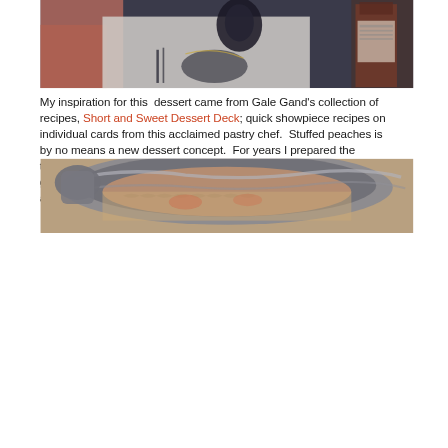[Figure (photo): Close-up photo of hands near a bottle and decorative items on a white cloth with embroidery]
My inspiration for this  dessert came from Gale Gand's collection of recipes, Short and Sweet Dessert Deck; quick showpiece recipes on individual cards from this acclaimed pastry chef.  Stuffed peaches is by no means a new dessert concept.  For years I prepared the traditional peaches stuffed with crumbled Amaretti cookies for summer gatherings.  White Peaches with Sheep Milk Ricotta is a nice alternative to this old stand by.
[Figure (photo): Close-up photo of fish or seafood in a metallic bowl or pan]